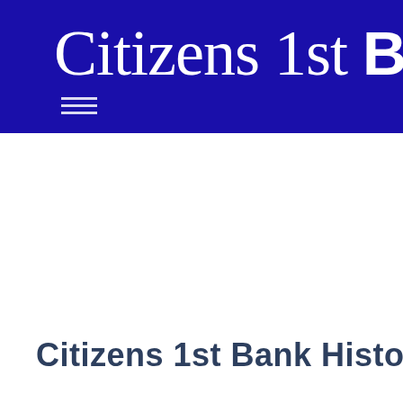[Figure (logo): Citizens 1st Bank logo on dark blue background with hamburger menu icon below]
Citizens 1st Bank History